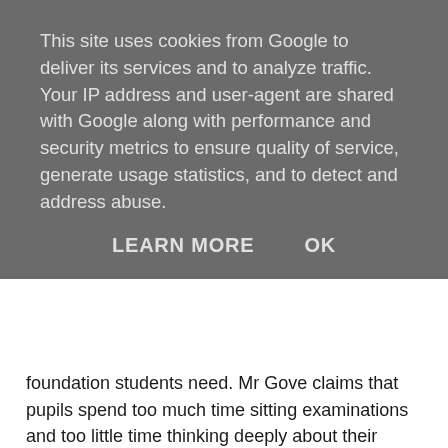This site uses cookies from Google to deliver its services and to analyze traffic. Your IP address and user-agent are shared with Google along with performance and security metrics to ensure quality of service, generate usage statistics, and to detect and address abuse.
LEARN MORE   OK
foundation students need. Mr Gove claims that pupils spend too much time sitting examinations and too little time thinking deeply about their subject. He has previously described the modular system as comprising "bite-sized" units of learning.
The Russell Group of top universities will have a role in supervising the content of A-levels, ensuring they are sufficiently challenging. This is a compromise position that the universities are happy with; Mr Gove had previously consulted with the universities about their being involved in setting the exams.
The new structure will be introduced in England from 2015. Labour's education secretary Stephen Twigg has already